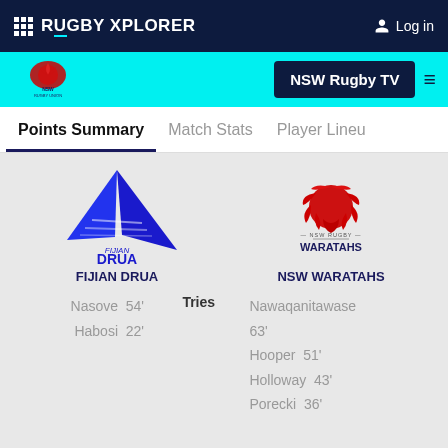RUGBY XPLORER  Log in
[Figure (logo): NSW Rugby Union logo and NSW Rugby TV button with hamburger menu]
Points Summary | Match Stats | Player Lineup
[Figure (logo): Fijian Drua logo - blue sail/bird shape]
FIJIAN DRUA
[Figure (logo): NSW Waratahs logo - red waratah flower]
NSW WARATAHS
Nasove  54'  Tries  Nawaqanitawase 63'
Habosi  22'  Hooper  51'
Holloway  43'
Porecki  36'